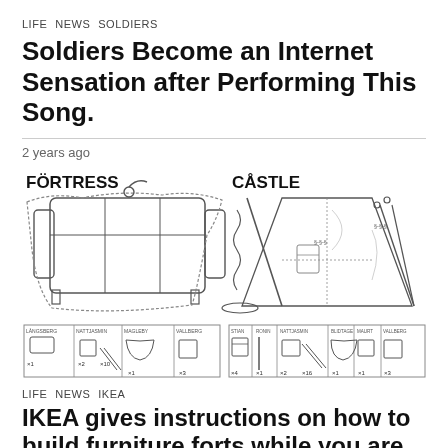LIFE  NEWS  SOLDIERS
Soldiers Become an Internet Sensation after Performing This Song.
2 years ago
[Figure (illustration): IKEA-style instruction sheet showing two furniture forts: FÖRTRESS (a couch with blanket fort, with parts list below) and CÅSTLE (a tent-like structure with poles and sheets, with parts list below).]
LIFE  NEWS  IKEA
IKEA gives instructions on how to build furniture forts while you are in